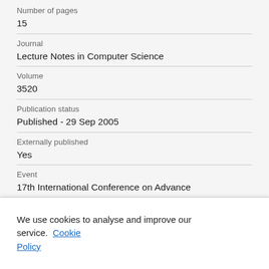Number of pages
15
Journal
Lecture Notes in Computer Science
Volume
3520
Publication status
Published - 29 Sep 2005
Externally published
Yes
Event
17th International Conference on Advanced Information Systems Engineering, CAiSE 2005 - Porto, Portugal
We use cookies to analyse and improve our service. Cookie Policy